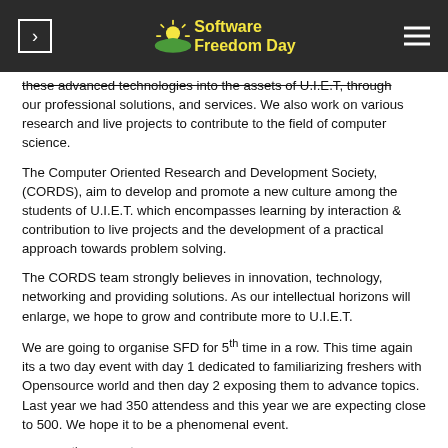Software Freedom Day
these advanced technologies into the assets of U.I.E.T, through our professional solutions, and services. We also work on various research and live projects to contribute to the field of computer science.
The Computer Oriented Research and Development Society, (CORDS), aim to develop and promote a new culture among the students of U.I.E.T. which encompasses learning by interaction & contribution to live projects and the development of a practical approach towards problem solving.
The CORDS team strongly believes in innovation, technology, networking and providing solutions. As our intellectual horizons will enlarge, we hope to grow and contribute more to U.I.E.T.
We are going to organise SFD for 5th time in a row. This time again its a two day event with day 1 dedicated to familiarizing freshers with Opensource world and then day 2 exposing them to advance topics. Last year we had 350 attendess and this year we are expecting close to 500. We hope it to be a phenomenal event.
Date: 20th and 21st September 2014